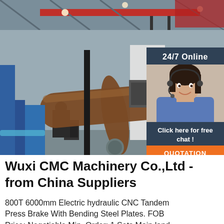[Figure (photo): Industrial factory interior showing a large CNC pipe bending or press brake machine. A large brown steel pipe is prominently visible being processed. Red overhead crane beams, blue metal structures, and a worker at a control panel are visible.]
[Figure (infographic): Overlay panel on top-right of main photo: dark navy blue background with '24/7 Online' text in white, a photo of a female customer service agent wearing a headset, 'Click here for free chat!' text, and an orange 'QUOTATION' button.]
Wuxi CMC Machinery Co.,Ltd - from China Suppliers
800T 6000mm Electric hydraulic CNC Tandem Press Brake With Bending Steel Plates. FOB Price: Negotiable Min. Order: 1 Sets Main land...